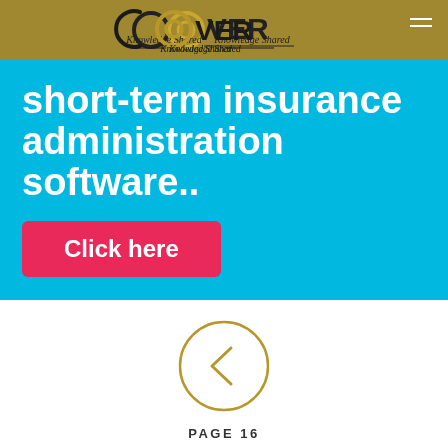COVER Knowledge Shared
short-term insurance administration software..
Click here
[Figure (illustration): Gold circle with left-pointing chevron arrow, navigation button]
PAGE 16
[Figure (illustration): Gold circle navigation button (partial, bottom)]